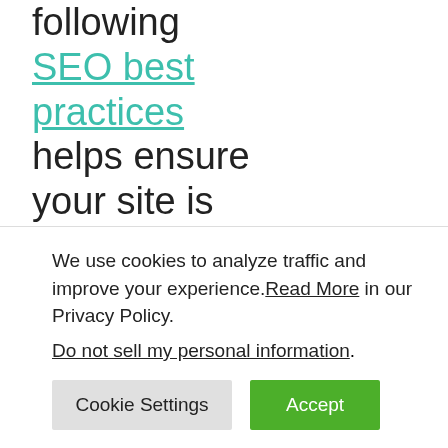following SEO best practices helps ensure your site is set up for success. These strategies also add value to
We use cookies to analyze traffic and improve your experience. Read More in our Privacy Policy. Do not sell my personal information.